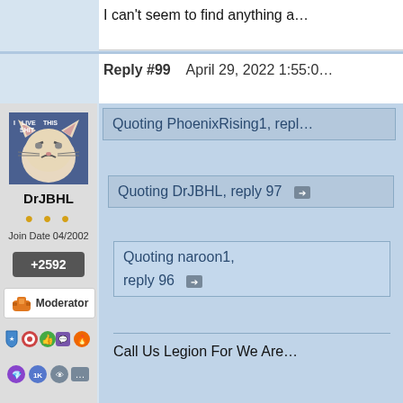I can't seem to find anything a…
Reply #99    April 29, 2022 1:55:0…
[Figure (photo): Grumpy cat meme avatar with text overlay 'I LIVE THIS SHIT']
DrJBHL
● ● ●
Join Date 04/2002
+2592
[Figure (logo): Moderator badge with orange life vest icon]
[Figure (infographic): Row of achievement/badge icons: shield, target, thumbs-up, chat, flame, purple gem, 1K, eye, ellipsis]
Quoting PhoenixRising1, repl…
Quoting DrJBHL, reply 97 ➡
Quoting naroon1,
reply 96 ➡
Call Us Legion For We Are…